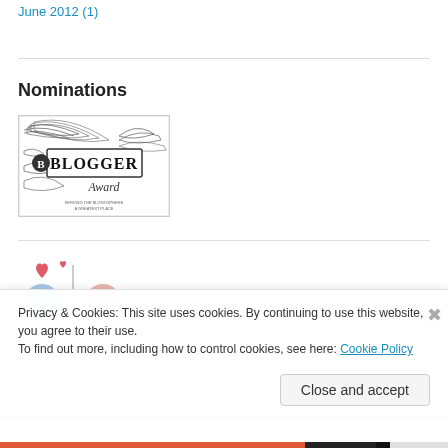June 2012 (1)
Nominations
[Figure (illustration): Blogger Award badge illustration with decorative feathers and ornate text reading BLOGGER Award]
[Figure (illustration): Heart icons and circular avatar icons visible at bottom of page]
Privacy & Cookies: This site uses cookies. By continuing to use this website, you agree to their use.
To find out more, including how to control cookies, see here: Cookie Policy
Close and accept